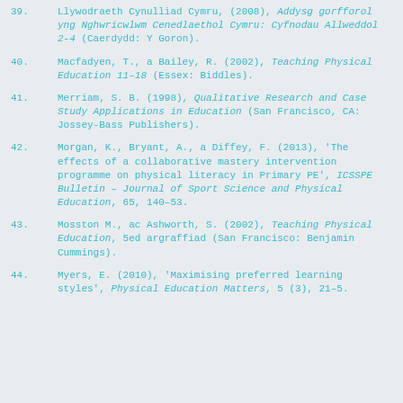39. Llywodraeth Cynulliad Cymru, (2008), Addysg gorfforol yng Nghwricwlwm Cenedlaethol Cymru: Cyfnodau Allweddol 2-4 (Caerdydd: Y Goron).
40. Macfadyen, T., a Bailey, R. (2002), Teaching Physical Education 11-18 (Essex: Biddles).
41. Merriam, S. B. (1998), Qualitative Research and Case Study Applications in Education (San Francisco, CA: Jossey-Bass Publishers).
42. Morgan, K., Bryant, A., a Diffey, F. (2013), 'The effects of a collaborative mastery intervention programme on physical literacy in Primary PE', ICSSPE Bulletin – Journal of Sport Science and Physical Education, 65, 140-53.
43. Mosston M., ac Ashworth, S. (2002), Teaching Physical Education, 5ed argraffiad (San Francisco: Benjamin Cummings).
44. Myers, E. (2010), 'Maximising preferred learning styles', Physical Education Matters, 5 (3), 21-5.